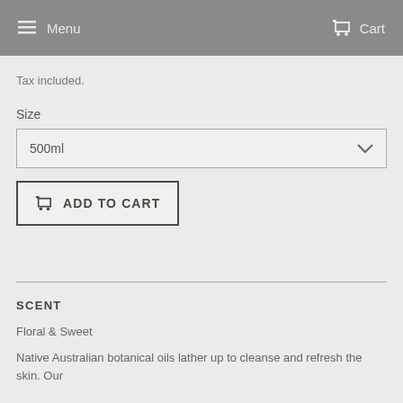Menu   Cart
Tax included.
Size
500ml
ADD TO CART
SCENT
Floral & Sweet
Native Australian botanical oils lather up to cleanse and refresh the skin. Our